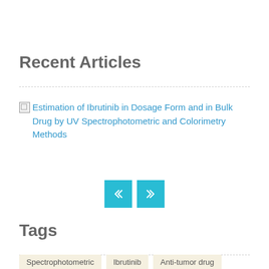Recent Articles
[Figure (other): Broken image placeholder with article link: Estimation of Ibrutinib in Dosage Form and in Bulk Drug by UV Spectrophotometric and Colorimetry Methods]
[Figure (other): Navigation buttons: previous (<<) and next (>>) in cyan/teal color]
Tags
Spectrophotometric
Ibrutinib
Anti-tumor drug